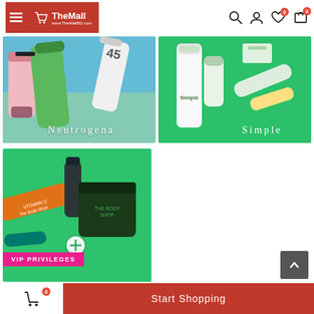The Mall - www.TheMallBD.com
[Figure (photo): Neutrogena skincare products on blue-green background with text 'Neutrogena']
[Figure (photo): Simple skincare products on green background with text 'Simple']
[Figure (photo): The Body Shop skincare products on green background with VIP PRIVILEGES tag]
Start Shopping